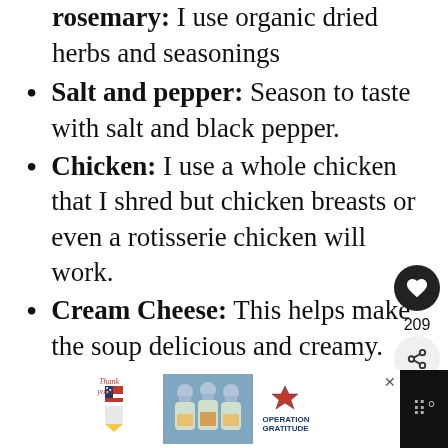rosemary: I use organic dried herbs and seasonings
Salt and pepper: Season to taste with salt and black pepper.
Chicken: I use a whole chicken that I shred but chicken breasts or even a rotisserie chicken will work.
Cream Cheese: This helps make the soup delicious and creamy.
Cream: Can use half and half but love using real organic cream.
[Figure (screenshot): Advertisement banner: Operation Gratitude ad showing a Thank You illustration with American flag pencils and healthcare workers in masks holding boxes.]